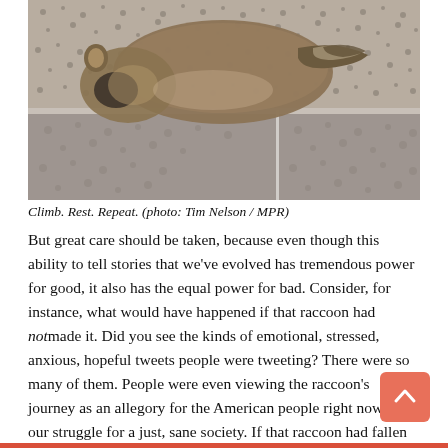[Figure (photo): A raccoon resting/clinging on a rough concrete or pebble-dash wall surface, viewed from above. The raccoon is visible mostly from the back, with its striped tail and fur against the grey textured wall.]
Climb. Rest. Repeat. (photo: Tim Nelson / MPR)
But great care should be taken, because even though this ability to tell stories that we've evolved has tremendous power for good, it also has the equal power for bad. Consider, for instance, what would have happened if that raccoon had not made it. Did you see the kinds of emotional, stressed, anxious, hopeful tweets people were tweeting? There were so many of them. People were even viewing the raccoon's journey as an allegory for the American people right now and our struggle for a just, sane society. If that raccoon had fallen to his death, can you imagine what kinds of stories people might have told themselves?